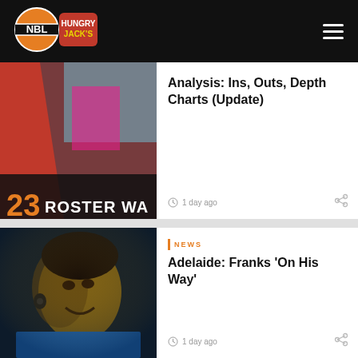[Figure (logo): NBL Hungry Jack's logo - navigation bar]
[Figure (photo): Roster Watch 2023 article thumbnail with red/grey graphic and text '23 ROSTER WA']
Analysis: Ins, Outs, Depth Charts (Update)
1 day ago
[Figure (photo): Basketball player smiling with headphones/earbuds, dark background - Adelaide article thumbnail]
NEWS
Adelaide: Franks 'On His Way'
1 day ago